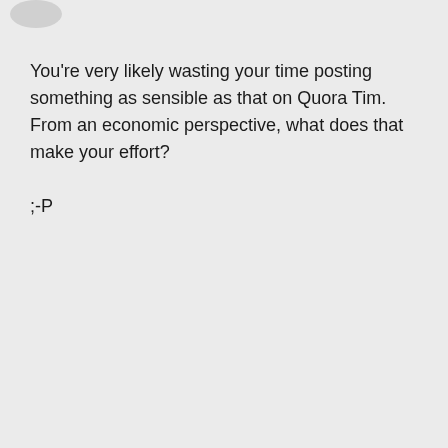You're very likely wasting your time posting something as sensible as that on Quora Tim.
From an economic perspective, what does that make your effort?

;-P